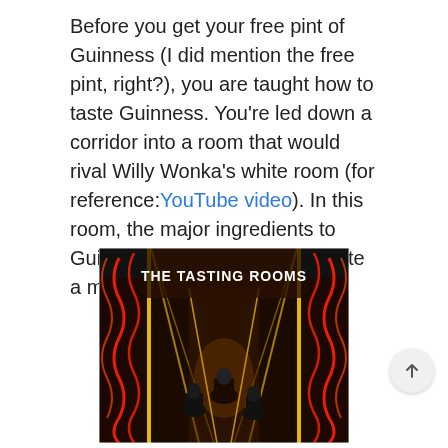Before you get your free pint of Guinness (I did mention the free pint, right?), you are taught how to taste Guinness. You're led down a corridor into a room that would rival Willy Wonka's white room (for reference: YouTube video). In this room, the major ingredients to Guinness are vaporized to create a multi-sensory experience.
[Figure (photo): Photo of the entrance to 'THE TASTING ROOMS' at the Guinness Storehouse. A long corridor lit by yellow neon lights leads into the distance, with red wavy neon decorations on the sides. Several visitors are seen walking into the corridor from behind.]